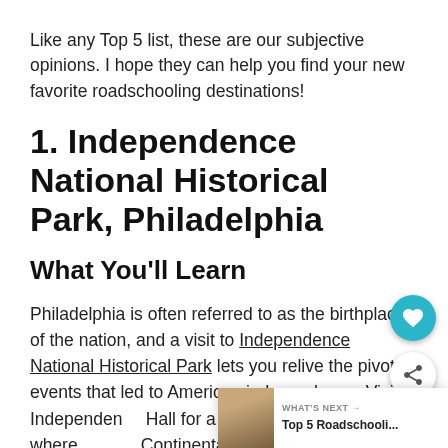Like any Top 5 list, these are our subjective opinions. I hope they can help you find your new favorite roadschooling destinations!
1. Independence National Historical Park, Philadelphia
What You'll Learn
Philadelphia is often referred to as the birthplace of the nation, and a visit to Independence National Historical Park lets you relive the pivotal events that led to American independence. Visit Independence Hall for a tour of the location where the Continental Congress met, see the Liberty Bell, and retrace the footsteps of George